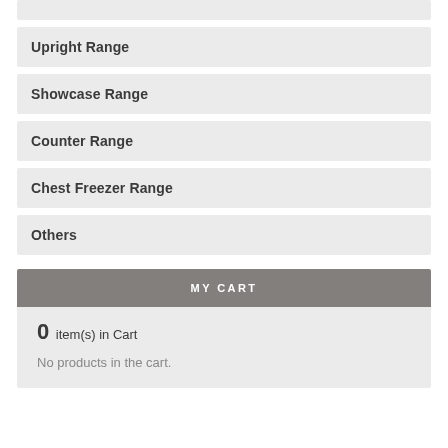Upright Range
Showcase Range
Counter Range
Chest Freezer Range
Others
MY CART
0 item(s) in Cart
No products in the cart.